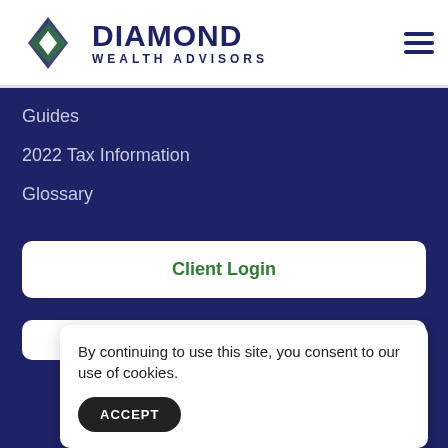[Figure (logo): Diamond Wealth Advisors logo with diamond geometric shape in blue, green, and silver, alongside the text DIAMOND WEALTH ADVISORS]
Guides
2022 Tax Information
Glossary
Client Login
By continuing to use this site, you consent to our use of cookies.
ACCEPT